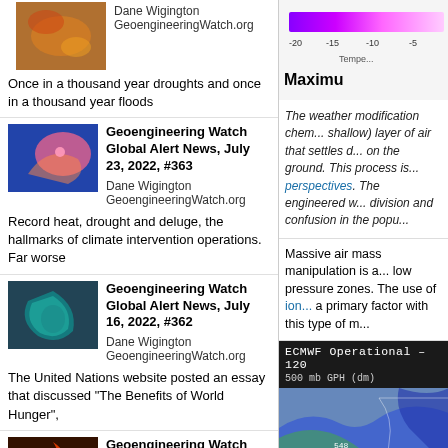[Figure (photo): Thumbnail image of atmospheric/weather phenomenon]
Dane Wigington GeoengineeringWatch.org Once in a thousand year droughts and once in a thousand year floods
[Figure (photo): Thumbnail image of satellite weather swirl]
Geoengineering Watch Global Alert News, July 23, 2022, #363
Dane Wigington GeoengineeringWatch.org Record heat, drought and deluge, the hallmarks of climate intervention operations. Far worse
[Figure (photo): Thumbnail image of hurricane/storm]
Geoengineering Watch Global Alert News, July 16, 2022, #362
Dane Wigington GeoengineeringWatch.org The United Nations website posted an essay that discussed "The Benefits of World Hunger",
[Figure (photo): Thumbnail image of volcanic/lava]
Geoengineering Watch Global Alert News, July 9, 2022, #361
Dane Wigington
[Figure (photo): Temperature colorbar showing gradient from -20 to -5, labeled Temperature Maximum]
The weather modification chem... shallow) layer of air that settles d... on the ground. This process is... perspectives. The engineered w... division and confusion in the popu...
Massive air mass manipulation is a... low pressure zones. The use of ion... a primary factor with this type of m...
[Figure (map): ECMWF Operational - 120 500 mb GPH (dm) weather map showing pressure contours over a geographic region]